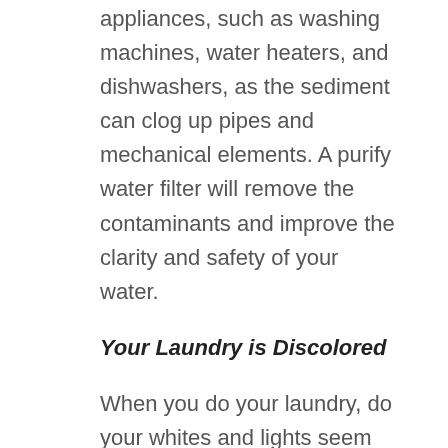appliances, such as washing machines, water heaters, and dishwashers, as the sediment can clog up pipes and mechanical elements. A purify water filter will remove the contaminants and improve the clarity and safety of your water.
Your Laundry is Discolored
When you do your laundry, do your whites and lights seem like they're dingy or discolored? If so, you could try a new laundry detergent; however, if the problem still persists, the water could be to blame. When water contains high amounts of contaminants, such as iron, it can make your white and light-colored clothing and linens look dull, dingy, and brownish or grayish in color. Contact a Gladeview, FL water